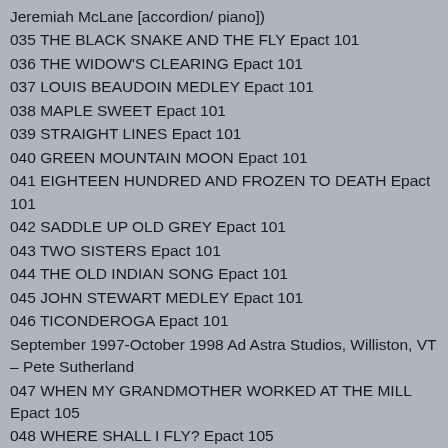Jeremiah McLane [accordion/ piano])
035 THE BLACK SNAKE AND THE FLY Epact 101
036 THE WIDOW'S CLEARING Epact 101
037 LOUIS BEAUDOIN MEDLEY Epact 101
038 MAPLE SWEET Epact 101
039 STRAIGHT LINES Epact 101
040 GREEN MOUNTAIN MOON Epact 101
041 EIGHTEEN HUNDRED AND FROZEN TO DEATH Epact 101
042 SADDLE UP OLD GREY Epact 101
043 TWO SISTERS Epact 101
044 THE OLD INDIAN SONG Epact 101
045 JOHN STEWART MEDLEY Epact 101
046 TICONDEROGA Epact 101
September 1997-October 1998 Ad Astra Studios, Williston, VT – Pete Sutherland
047 WHEN MY GRANDMOTHER WORKED AT THE MILL Epact 105
048 WHERE SHALL I FLY? Epact 105
049 FOOL'S GOLD Epact 105
050 HARD HEARTED HILLS Epact 105
051 MARK'S SONG Epact 105